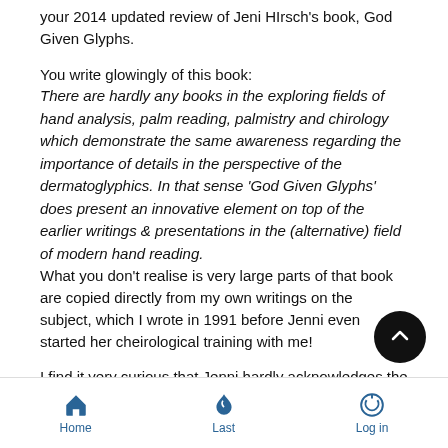your 2014 updated review of Jeni HIrsch's book, God Given Glyphs.
You write glowingly of this book: There are hardly any books in the exploring fields of hand analysis, palm reading, palmistry and chirology which demonstrate the same awareness regarding the importance of details in the perspective of the dermatoglyphics. In that sense 'God Given Glyphs' does present an innovative element on top of the earlier writings & presentations in the (alternative) field of modern hand reading. What you don't realise is very large parts of that book are copied directly from my own writings on the subject, which I wrote in 1991 before Jenni even started her cheirological training with me!
I find it very curious that Jenni hardly acknowledges the influence I have had on her handreading; the fact of the matter is
Home   Last   Log in